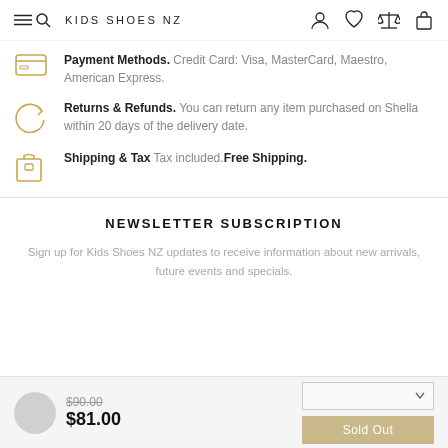KIDS SHOES NZ
Payment Methods. Credit Card: Visa, MasterCard, Maestro, American Express.
Returns & Refunds. You can return any item purchased on Shella within 20 days of the delivery date.
Shipping & Tax Tax included.Free Shipping.
NEWSLETTER SUBSCRIPTION
Sign up for Kids Shoes NZ updates to receive information about new arrivals, future events and specials.
$90.00 $81.00 Sold Out